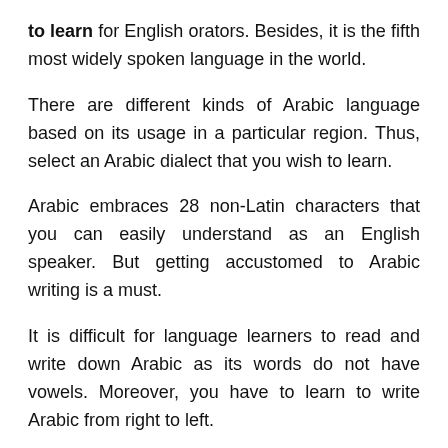to learn for English orators. Besides, it is the fifth most widely spoken language in the world.
There are different kinds of Arabic language based on its usage in a particular region. Thus, select an Arabic dialect that you wish to learn.
Arabic embraces 28 non-Latin characters that you can easily understand as an English speaker. But getting accustomed to Arabic writing is a must.
It is difficult for language learners to read and write down Arabic as its words do not have vowels. Moreover, you have to learn to write Arabic from right to left.